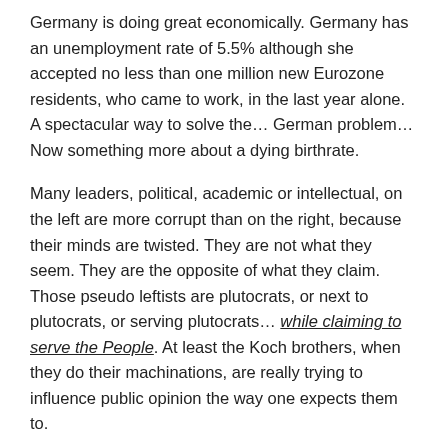Germany is doing great economically. Germany has an unemployment rate of 5.5% although she accepted no less than one million new Eurozone residents, who came to work, in the last year alone. A spectacular way to solve the… German problem… Now something more about a dying birthrate.
Many leaders, political, academic or intellectual, on the left are more corrupt than on the right, because their minds are twisted. They are not what they seem. They are the opposite of what they claim. Those pseudo leftists are plutocrats, or next to plutocrats, or serving plutocrats… while claiming to serve the People. At least the Koch brothers, when they do their machinations, are really trying to influence public opinion the way one expects them to.